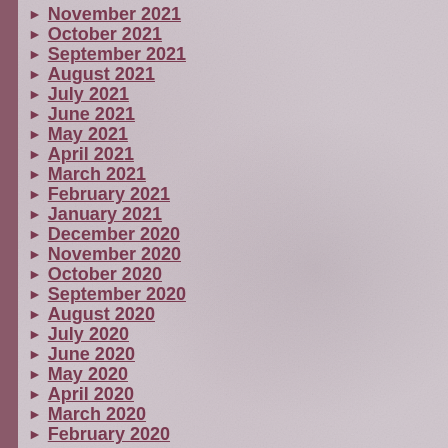November 2021
October 2021
September 2021
August 2021
July 2021
June 2021
May 2021
April 2021
March 2021
February 2021
January 2021
December 2020
November 2020
October 2020
September 2020
August 2020
July 2020
June 2020
May 2020
April 2020
March 2020
February 2020